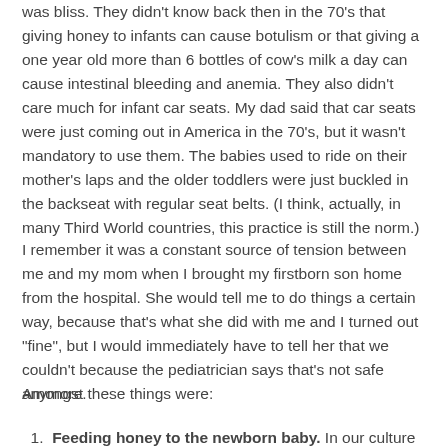was bliss. They didn't know back then in the 70's that giving honey to infants can cause botulism or that giving a one year old more than 6 bottles of cow's milk a day can cause intestinal bleeding and anemia. They also didn't care much for infant car seats. My dad said that car seats were just coming out in America in the 70's, but it wasn't mandatory to use them. The babies used to ride on their mother's laps and the older toddlers were just buckled in the backseat with regular seat belts. (I think, actually, in many Third World countries, this practice is still the norm.)
I remember it was a constant source of tension between me and my mom when I brought my firstborn son home from the hospital. She would tell me to do things a certain way, because that's what she did with me and I turned out "fine", but I would immediately have to tell her that we couldn't because the pediatrician says that's not safe anymore.
Amongst these things were:
1. Feeding honey to the newborn baby. In our culture